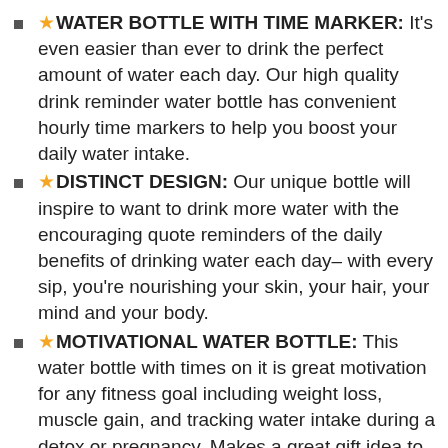★WATER BOTTLE WITH TIME MARKER: It's even easier than ever to drink the perfect amount of water each day. Our high quality drink reminder water bottle has convenient hourly time markers to help you boost your daily water intake.
★DISTINCT DESIGN: Our unique bottle will inspire to want to drink more water with the encouraging quote reminders of the daily benefits of drinking water each day– with every sip, you're nourishing your skin, your hair, your mind and your body.
★MOTIVATIONAL WATER BOTTLE: This water bottle with times on it is great motivation for any fitness goal including weight loss, muscle gain, and tracking water intake during a detox or pregnancy. Makes a great gift idea to encourage fitness minded loved ones.
★BPA FREE AND NO CHEMICAL TASTE OR DROPS